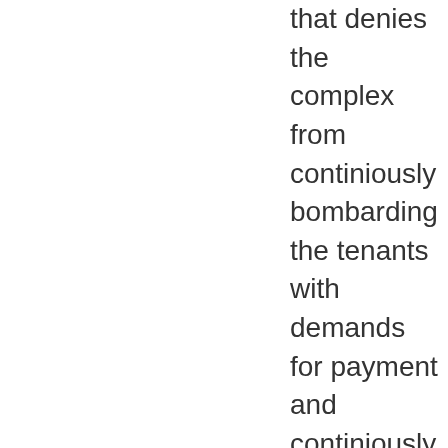that denies the complex from continiously bombarding the tenants with demands for payment and continiously spraying their targeted apartments . If this protection is not offered in th HUD/ HAP agreemnts to protect the Poor from economic exploitation and